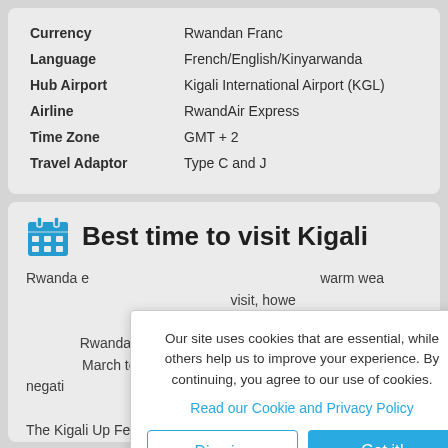| Currency | Rwandan Franc |
| Language | French/English/Kinyarwanda |
| Hub Airport | Kigali International Airport (KGL) |
| Airline | RwandAir Express |
| Time Zone | GMT + 2 |
| Travel Adaptor | Type C and J |
Best time to visit Kigali
Rwanda enjoys a tropical highland climate with warm weather all year around. The best time to visit, however, is during the dry seasons from June to September and December to February, which is Rwanda's summer. During the rainy seasons, which run from March to May and October to November, the rain can negatively impact safari activities. Rwanda has a number of great festivals and events that take place throughout the year. The Kigali Up Festival takes place
Our site uses cookies that are essential, while others help us to improve your experience. By continuing, you agree to our use of cookies.
Read our Cookie and Privacy Policy
Dismiss
Got it!